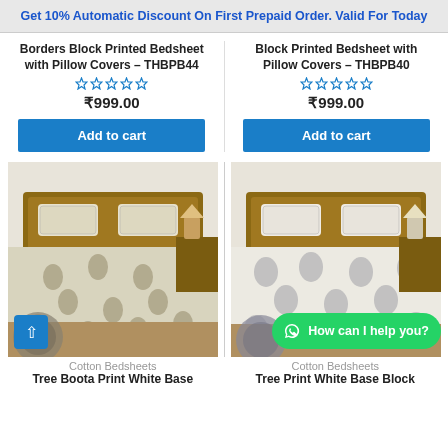Get 10% Automatic Discount On First Prepaid Order. Valid For Today
Borders Block Printed Bedsheet with Pillow Covers – THBPB44
₹999.00
Add to cart
Block Printed Bedsheet with Pillow Covers – THBPB40
₹999.00
Add to cart
[Figure (photo): Bed with light green/cream block printed bedsheet and pillow covers on a wooden bed frame]
Cotton Bedsheets
Tree Boota Print White Base
[Figure (photo): Bed with white block printed bedsheet with grey tree print and pillow covers on a wooden bed frame]
Cotton Bedsheets
Tree Print White Base Block